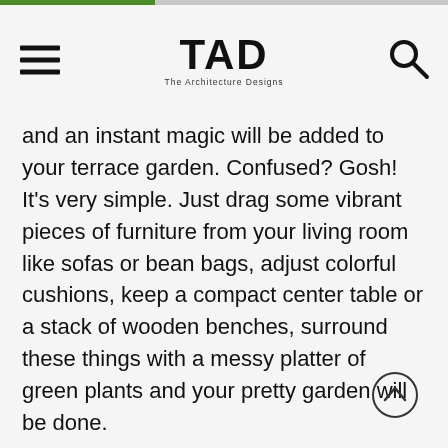TAD - The Architecture Designs
and an instant magic will be added to your terrace garden. Confused? Gosh! It's very simple. Just drag some vibrant pieces of furniture from your living room like sofas or bean bags, adjust colorful cushions, keep a compact center table or a stack of wooden benches, surround these things with a messy platter of green plants and your pretty garden will be done.